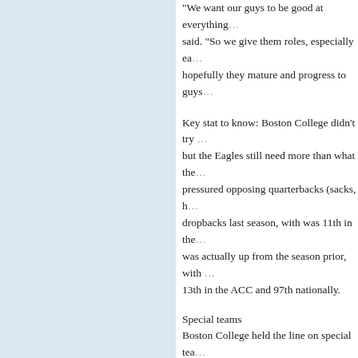“We want our guys to be good at everything… said. “So we give them roles, especially ea… hopefully they mature and progress to guys…
Key stat to know: Boston College didn’t try … but the Eagles still need more than what the… pressured opposing quarterbacks (sacks, h… dropbacks last season, with was 11th in the… was actually up from the season prior, with … 13th in the ACC and 97th nationally.
Special teams
Boston College held the line on special tea… hitting a kickoff return touchdown to put awa… little to no harm the rest of the way. But Tra… is gone. He averaged 27.5 yards per return … a one-time Ohio State running back, will pic… at wideout for the Eagles, Gill was a lead pu…
Boston College did give up a 64-yard punt r… Syracuse, a backbreaking moment during a… Grant Carlson must be replaced.
The Eagles should be fine at kicker, with bo… Longman back. Lytton hit 11 of 12 field goa…